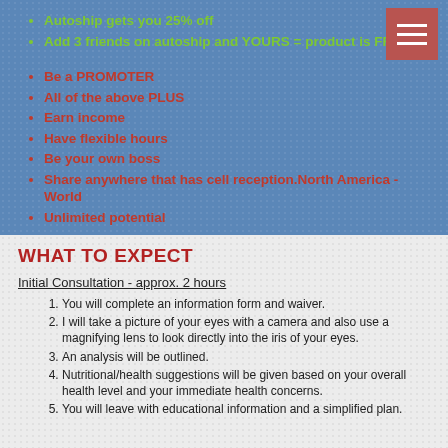Autoship gets you 25% off
Add 3 friends on autoship and YOURS = product is FREE
Be a PROMOTER
All of the above PLUS
Earn income
Have flexible hours
Be your own boss
Share anywhere that has cell reception.North America - World
Unlimited potential
WHAT TO EXPECT
Initial Consultation - approx. 2 hours
You will complete an information form and waiver.
I will take a picture of your eyes with a camera and also use a magnifying lens to look directly into the iris of your eyes.
An analysis will be outlined.
Nutritional/health suggestions will be given based on your overall health level and your immediate health concerns.
You will leave with educational information and a simplified plan.